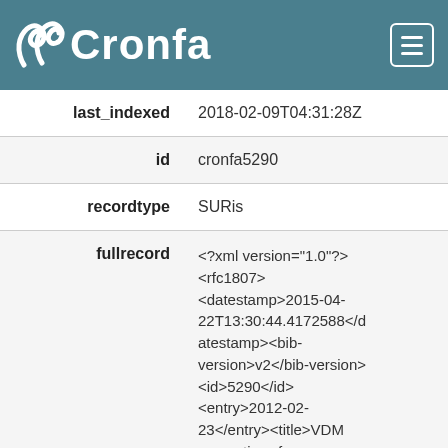Cronfa
| field | value |
| --- | --- |
| last_indexed | 2018-02-09T04:31:28Z |
| id | cronfa5290 |
| recordtype | SURis |
| fullrecord | <?xml version="1.0"?><rfc1807><datestamp>2015-04-22T13:30:44.4172588</datestamp><bib-version>v2</bib-version><id>5290</id><entry>2012-02-23</entry><title>VDM semantics of programming languages: combinators and monads</title> |